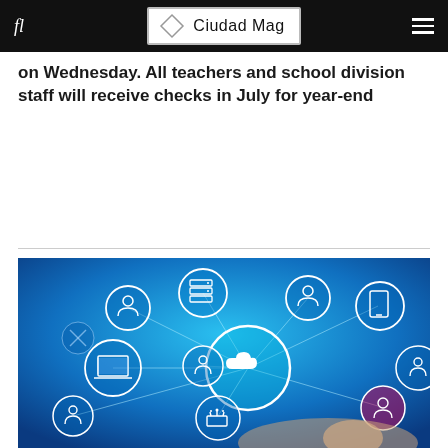fl | Ciudad Mag
on Wednesday. All teachers and school division staff will receive checks in July for year-end
READ MORE
[Figure (photo): Cloud computing network concept illustration — a finger touching a tablet with glowing circular icons showing cloud, laptop, server, user/person icons connected by lines on a blue digital background.]